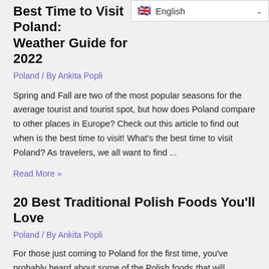Best Time to Visit Poland: Weather Guide for 2022
Poland / By Ankita Popli
Spring and Fall are two of the most popular seasons for the average tourist and tourist spot, but how does Poland compare to other places in Europe? Check out this article to find out when is the best time to visit! What's the best time to visit Poland? As travelers, we all want to find ...
Read More »
20 Best Traditional Polish Foods You'll Love
Poland / By Ankita Popli
For those just coming to Poland for the first time, you've probably heard about some of the Polish foods that will